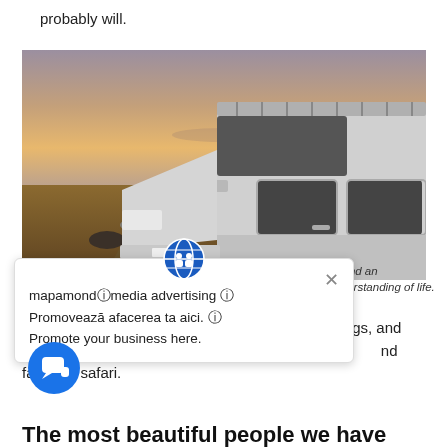probably will.
[Figure (photo): A white Land Rover Defender with a roof rack parked on a dirt road in a barren landscape at sunset/dusk, dramatic sky with orange clouds.]
ty, and an understanding of life.
mapamondⓘmedia advertising ⓘ
Promovează afacerea ta aici. ⓘ
Promote your business here.
cklaces, adorned with il rings, abstract drop earrings, and spectacular statement chokers inspired by the flora and fauna of safari.
The most beautiful people we have